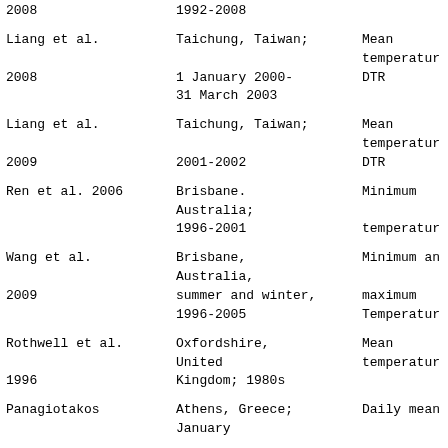| Author | Location; Period | Temperature Measure |
| --- | --- | --- |
| 2008 (cont.) | 1992-2008 (cont.) |  |
| Liang et al.
2008 | Taichung, Taiwan;
1 January 2000-
31 March 2003 | Mean temperature
DTR |
| Liang et al.
2009 | Taichung, Taiwan;
2001-2002 | Mean temperature
DTR |
| Ren et al. 2006 | Brisbane.
Australia;
1996-2001 | Minimum
temperature |
| Wang et al.
2009 | Brisbane,
Australia,
summer and winter,
1996-2005 | Minimum and
maximum
Temperature |
| Rothwell et al.
1996 | Oxfordshire,
United
Kingdom; 1980s | Mean
temperature |
| Panagiotakos | Athens, Greece;
January | Daily mean |